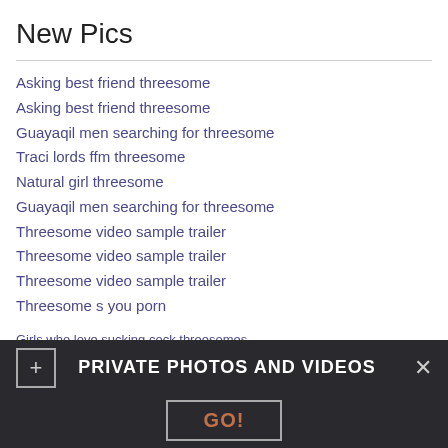New Pics
Asking best friend threesome
Asking best friend threesome
Guayaqil men searching for threesome
Traci lords ffm threesome
Natural girl threesome
Guayaqil men searching for threesome
Threesome video sample trailer
Threesome video sample trailer
Threesome video sample trailer
Threesome s you porn
Girls who love sucking cock threesomes
Porn stories threesome mlif
Elise threesome affair shakopee
Threesome s you porn...
PRIVATE PHOTOS AND VIDEOS
GO!